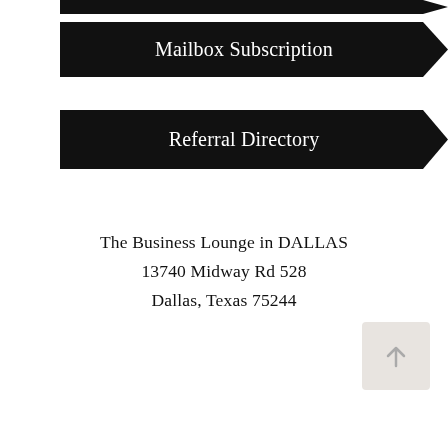Mailbox Subscription
Referral Directory
The Business Lounge in DALLAS
13740 Midway Rd 528
Dallas, Texas 75244